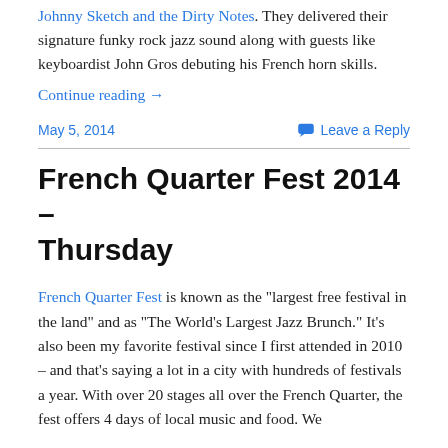Johnny Sketch and the Dirty Notes. They delivered their signature funky rock jazz sound along with guests like keyboardist John Gros debuting his French horn skills.
Continue reading →
May 5, 2014
💬 Leave a Reply
French Quarter Fest 2014 – Thursday
French Quarter Fest is known as the "largest free festival in the land" and as "The World's Largest Jazz Brunch." It's also been my favorite festival since I first attended in 2010 – and that's saying a lot in a city with hundreds of festivals a year. With over 20 stages all over the French Quarter, the fest offers 4 days of local music and food. We